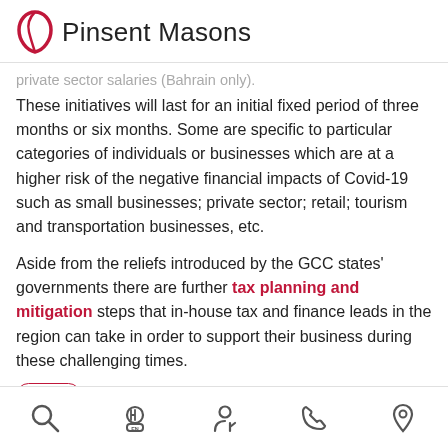Pinsent Masons
private sector salaries (Bahrain only).
These initiatives will last for an initial fixed period of three months or six months. Some are specific to particular categories of individuals or businesses which are at a higher risk of the negative financial impacts of Covid-19 such as small businesses; private sector; retail; tourism and transportation businesses, etc.
Aside from the reliefs introduced by the GCC states' governments there are further tax planning and mitigation steps that in-house tax and finance leads in the region can take in order to support their business during these challenging times.
Tax
Banking
Navigation bar with search, settings, person, phone, and location icons